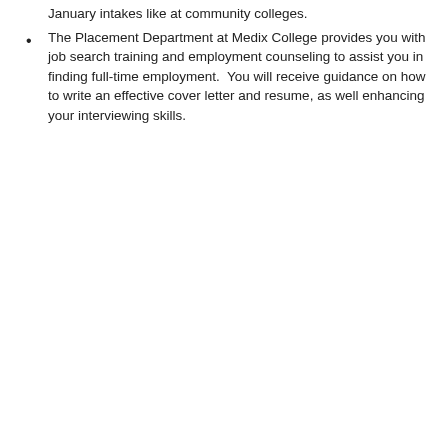January intakes like at community colleges.
The Placement Department at Medix College provides you with job search training and employment counseling to assist you in finding full-time employment.  You will receive guidance on how to write an effective cover letter and resume, as well enhancing your interviewing skills.